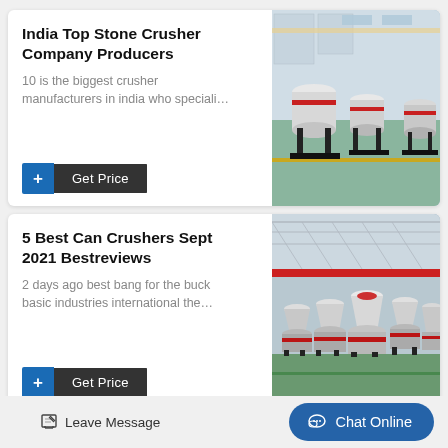India Top Stone Crusher Company Producers
10 is the biggest crusher manufacturers in india who speciali…
[Figure (photo): Industrial stone crusher machines in a warehouse/factory floor]
5 Best Can Crushers Sept 2021 Bestreviews
2 days ago best bang for the buck basic industries international the…
[Figure (photo): Multiple cone crusher machines in a large factory/warehouse]
Leave Message
Chat Online